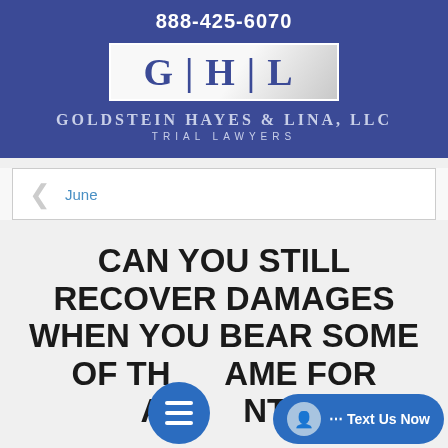888-425-6070
[Figure (logo): GHL logo — letters G H L with vertical bars between them in a white rectangular box with a dark blue border, on a dark blue background]
Goldstein Hayes & Lina, LLC
Trial Lawyers
June
CAN YOU STILL RECOVER DAMAGES WHEN YOU BEAR SOME OF THE BLAME FOR ACCIDENT?